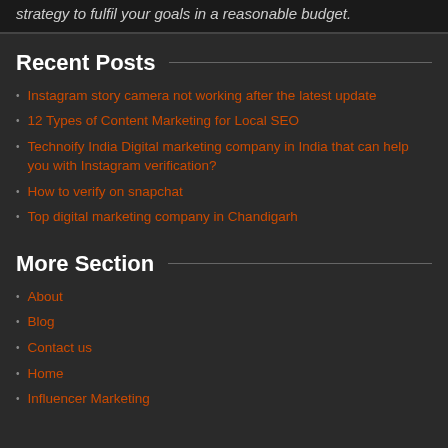strategy to fulfil your goals in a reasonable budget.
Recent Posts
Instagram story camera not working after the latest update
12 Types of Content Marketing for Local SEO
Technoify India Digital marketing company in India that can help you with Instagram verification?
How to verify on snapchat
Top digital marketing company in Chandigarh
More Section
About
Blog
Contact us
Home
Influencer Marketing